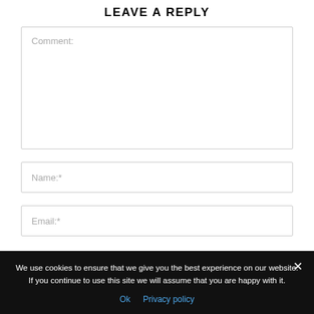LEAVE A REPLY
Comment:
Name:*
Email:*
We use cookies to ensure that we give you the best experience on our website. If you continue to use this site we will assume that you are happy with it.
Ok   Privacy policy